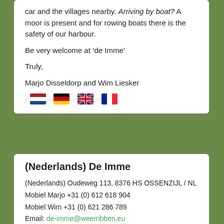car and the villages nearby. Arriving by boat? A moor is present and for rowing boats there is the safety of our harbour.
Be very welcome at ‘de Imme’
Truly,
Marjo Disseldorp and Wim Liesker
[Figure (other): Four national flags (Netherlands, Germany, UK, France) with arrow separators, used as language selectors]
(Nederlands) De Imme
(Nederlands) Oudeweg 113, 8376 HS OSSENZIJL / NL
Mobiel Marjo +31 (0) 612 618 904
Mobiel Wim +31 (0) 621 286 789
Email: de-imme@weerribben.eu